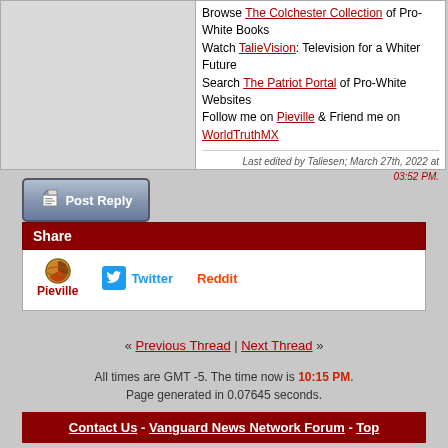Browse The Colchester Collection of Pro-White Books
Watch TalieVision: Television for a Whiter Future
Search The Patriot Portal of Pro-White Websites
Follow me on Pieville & Friend me on WorldTruthMX
Last edited by Taliesen; March 27th, 2022 at 03:52 PM.
[Figure (other): Post Reply button with pencil/paper icon]
Share
[Figure (other): Share icons: Pieville (pie icon), Twitter (bird icon), Reddit]
« Previous Thread | Next Thread »
All times are GMT -5. The time now is 10:15 PM.
Page generated in 0.07645 seconds.
Contact Us - Vanguard News Network Forum - Top